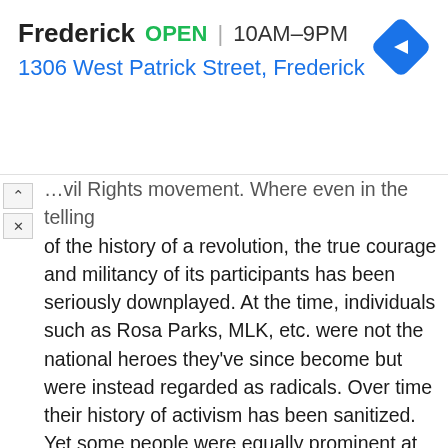[Figure (screenshot): Ad banner showing 'Frederick OPEN 10AM–9PM' and address '1306 West Patrick Street, Frederick' with a blue navigation diamond icon, and UI controls (up arrow and X button)]
Civil Rights movement. Where even in the telling of the history of a revolution, the true courage and militancy of its participants has been seriously downplayed. At the time, individuals such as Rosa Parks, MLK, etc. were not the national heroes they've since become but were instead regarded as radicals. Over time their history of activism has been sanitized. Yet some people were equally prominent at the time and even more left-field and arguably militant. You have to ask yourself, "Why have these people been seemingly lost to history or at least why aren't their stories as widely known? Where did this idea come from that Southern Black people had been passively giving in to White supremacy